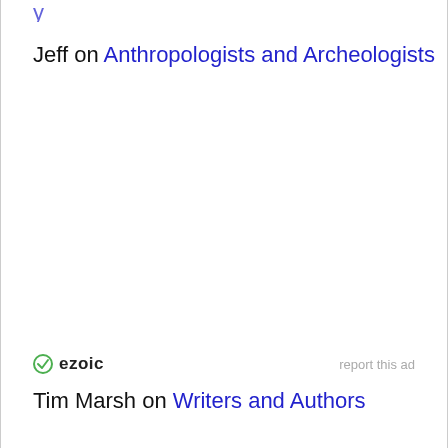Jeff on Anthropologists and Archeologists
[Figure (logo): Ezoic logo with circular badge icon and bold 'ezoic' text, with 'report this ad' link to the right]
Tim Marsh on Writers and Authors